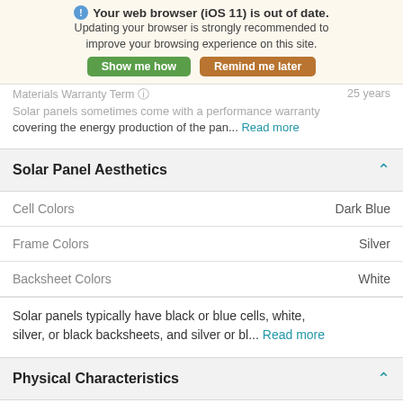Your web browser (iOS 11) is out of date. Updating your browser is strongly recommended to improve your browsing experience on this site.
Show me how | Remind me later
Materials Warranty Term  25 years
Solar panels sometimes come with a performance warranty covering the energy production of the pane... Read more
Solar Panel Aesthetics
| Property | Value |
| --- | --- |
| Cell Colors | Dark Blue |
| Frame Colors | Silver |
| Backsheet Colors | White |
Solar panels typically have black or blue cells, white, silver, or black backsheets, and silver or bl... Read more
Physical Characteristics